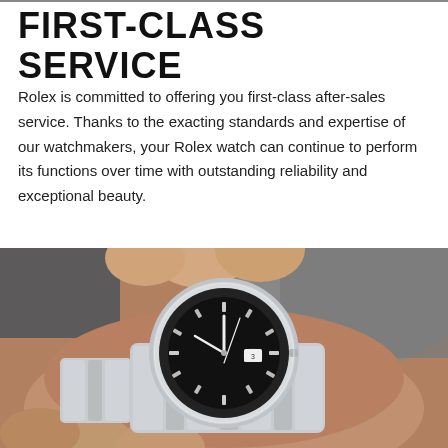FIRST-CLASS SERVICE
Rolex is committed to offering you first-class after-sales service. Thanks to the exacting standards and expertise of our watchmakers, your Rolex watch can continue to perform its functions over time with outstanding reliability and exceptional beauty.
[Figure (photo): Close-up photo of a person wearing a Rolex stainless steel watch with a black dial, being adjusted by another person's hands. The watch has a steel Oyster bracelet and a smooth black bezel.]